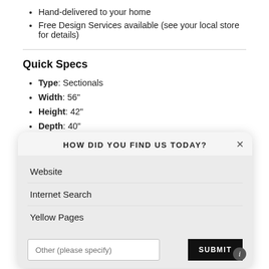Hand-delivered to your home
Free Design Services available (see your local store for details)
Quick Specs
Type: Sectionals
Width: 56"
Height: 42"
Depth: 40"
[Figure (screenshot): A modal dialog asking 'HOW DID YOU FIND US TODAY?' with options: Website, Internet Search, Yellow Pages, and a text input 'Other (please specify)' with a SUBMIT button and an info icon.]